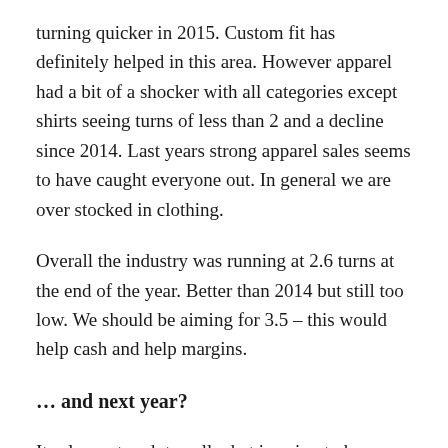turning quicker in 2015. Custom fit has definitely helped in this area. However apparel had a bit of a shocker with all categories except shirts seeing turns of less than 2 and a decline since 2014. Last years strong apparel sales seems to have caught everyone out. In general we are over stocked in clothing.
Overall the industry was running at 2.6 turns at the end of the year. Better than 2014 but still too low. We should be aiming for 3.5 – this would help cash and help margins.
… and next year?
Its always tough to call what is going to happen. We are